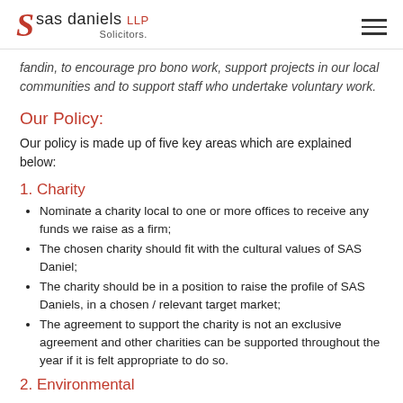sas daniels LLP Solicitors.
fandin, to encourage pro bono work, support projects in our local communities and to support staff who undertake voluntary work.
Our Policy:
Our policy is made up of five key areas which are explained below:
1. Charity
Nominate a charity local to one or more offices to receive any funds we raise as a firm;
The chosen charity should fit with the cultural values of SAS Daniel;
The charity should be in a position to raise the profile of SAS Daniels, in a chosen / relevant target market;
The agreement to support the charity is not an exclusive agreement and other charities can be supported throughout the year if it is felt appropriate to do so.
2. Environmental